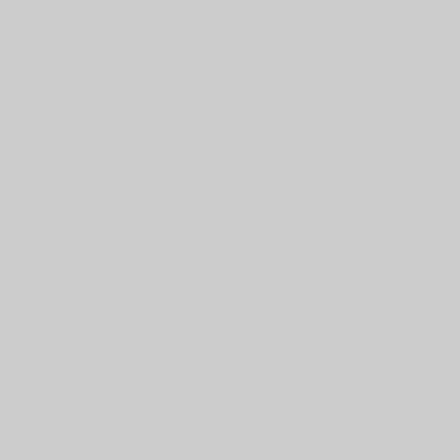| Folder | Description |
| --- | --- |
|  | Wilson, ...
AMF Incorporated Detroit Di... Allison, et... |
| Folder 293 | New Bern... Division 8... CIV-4 Uni... States of A... v. Walter K... Jr. |
| Folder 294 | New Bern... Division 8... CIV-4 Chroma... American... Corporati... Carl T. Kn... Ernest & M... Class Cor... |
| Folder 295 | New Bern... Division 8... CIV-4 Sur... Salvage S... Inc. v. Cha... Cooper, et... |